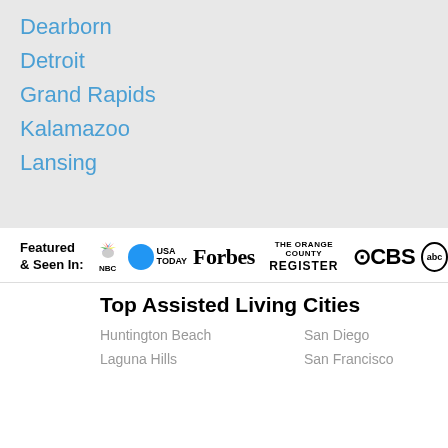Dearborn
Detroit
Grand Rapids
Kalamazoo
Lansing
[Figure (logo): Featured & Seen In: NBC, USA Today, Forbes, The Orange County Register, CBS, abc media logos]
Top Assisted Living Cities
Huntington Beach
San Diego
Laguna Hills
San Francisco